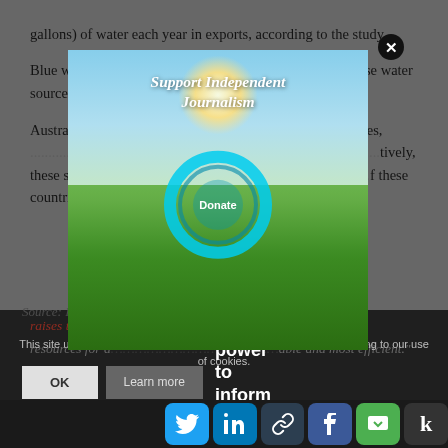gallons) of water each year in exports, according to the study.
Blue water exports are especially concerning, because these water sources typically take longer to recharge...
Australia... United States,... annual water exports... tively, these s... global blue vi... f these countries... raises the question whether the implicit or explicit resources for a... able and most efficient."
[Figure (infographic): Popup modal with scenic green field and sky background. Text reads 'Support Independent Journalism' in italic white text with a teal circular ring/donate button in the center labeled 'Donate'. A close button (X) appears in the top right of the modal.]
You have the power to inform
This site uses cookies. By continuing to browse the site, you are agreeing to our use of cookies.
Source: India...
[Figure (infographic): Social sharing icons row: Twitter (blue), LinkedIn (blue), chain-link (dark blue), Facebook (blue), SMS (green), Kinja (dark)]